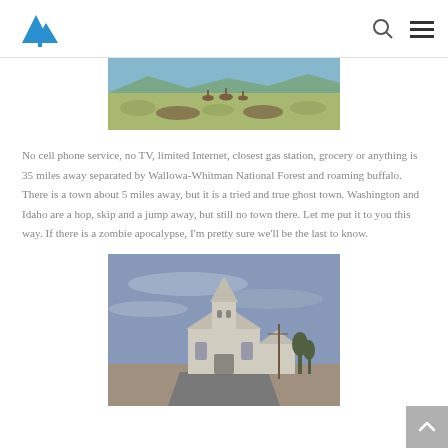Navigation header with logo, search icon, and menu icon
[Figure (photo): Landscape photo showing animals (likely elk or deer) in a field with scrubby brush vegetation, blue sky in the background — a wide panoramic crop.]
No cell phone service, no TV, limited Internet, closest gas station, grocery or anything is 35 miles away separated by Wallowa-Whitman National Forest and roaming buffalo. There is a town about 5 miles away, but it is a tried and true ghost town. Washington and Idaho are a hop, skip and a jump away, but still no town there. Let me put it to you this way. If there is a zombie apocalypse, I'm pretty sure we'll be the last to know.
[Figure (photo): Photo of an old abandoned white wooden church with a tall steeple, set against a cloudy blue-grey sky. The building appears weathered and dilapidated. A road and flat landscape are visible in the foreground.]